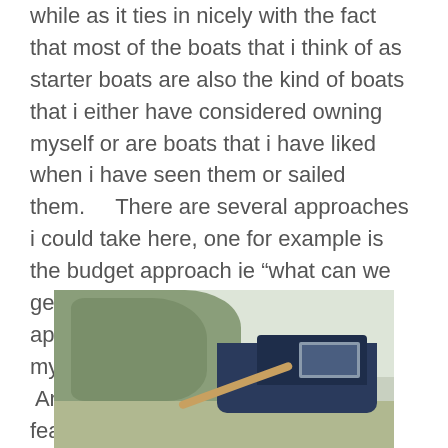while as it ties in nicely with the fact that most of the boats that i think of as starter boats are also the kind of boats that i either have considered owning myself or are boats that i have liked when i have seen them or sailed them.      There are several approaches i could take here, one for example is the budget approach ie “what can we get at X budget” and that is an approach i took when saving towards my first cruising boat.  Another approach is to define what features or qualities we want in a starter boat, it might be for example that the boat, like mine, has to be able to live in a mud berth and sail in shallow water.
[Figure (photo): A photograph of a boat, dark blue hull with wooden tiller, moored near trees and vegetation.]